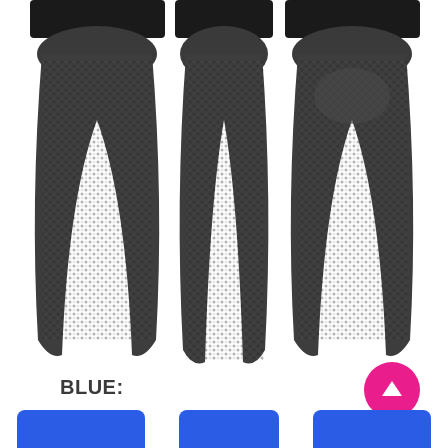[Figure (photo): Three views of dark gray textured compression leggings worn by a model: front view, front-center view, and back view showing the V-shaped waistband detail. The leggings have a honeycomb/bubble texture pattern and black waistband.]
BLUE:
[Figure (photo): Three partial views of blue leggings showing the waistband/top portion, cropped at the bottom of the page.]